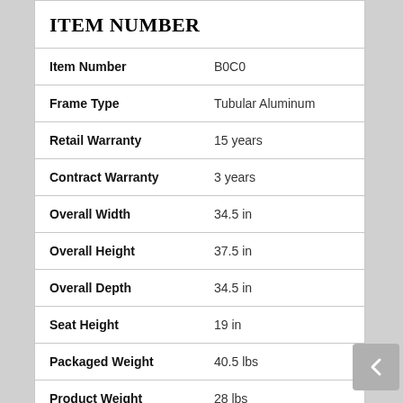| ITEM NUMBER |  |
| --- | --- |
| Item Number | B0C0 |
| Frame Type | Tubular Aluminum |
| Retail Warranty | 15 years |
| Contract Warranty | 3 years |
| Overall Width | 34.5 in |
| Overall Height | 37.5 in |
| Overall Depth | 34.5 in |
| Seat Height | 19 in |
| Packaged Weight | 40.5 lbs |
| Product Weight | 28 lbs |
| Carton Cube | 26.3 ft3 |